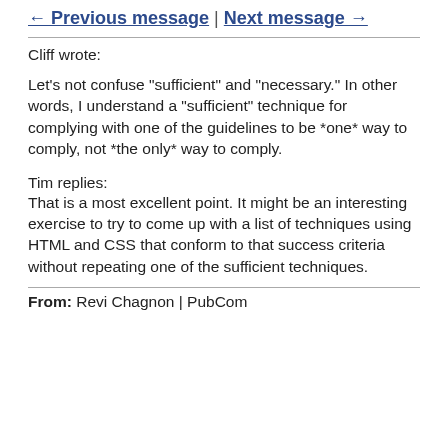← Previous message | Next message →
Cliff wrote:
Let's not confuse "sufficient" and "necessary." In other words, I understand a "sufficient" technique for complying with one of the guidelines to be *one* way to comply, not *the only* way to comply.
Tim replies:
That is a most excellent point. It might be an interesting exercise to try to come up with a list of techniques using HTML and CSS that conform to that success criteria without repeating one of the sufficient techniques.
From: Revi Chagnon | PubCom